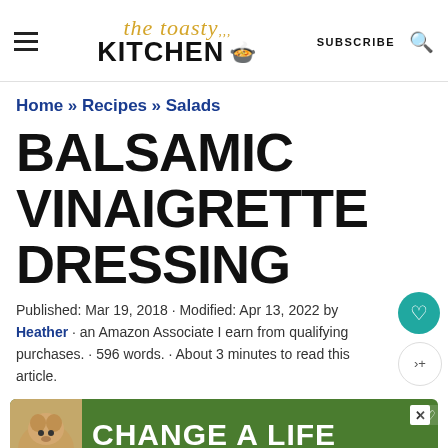The Toasty Kitchen — SUBSCRIBE
Home » Recipes » Salads
BALSAMIC VINAIGRETTE DRESSING
Published: Mar 19, 2018 · Modified: Apr 13, 2022 by Heather · an Amazon Associate I earn from qualifying purchases. · 596 words. · About 3 minutes to read this article.
[Figure (other): Advertisement banner with a dog and text CHANGE A LIFE on green background]